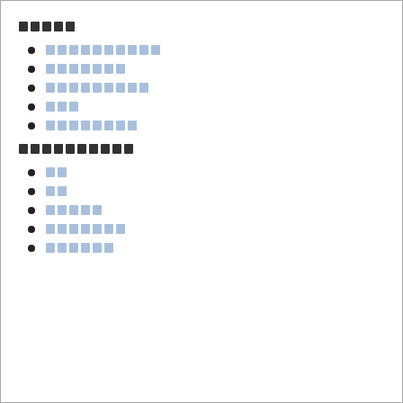█████
██████████
███████
█████████
███
████████
██████████
██
██
█████
███████
██████